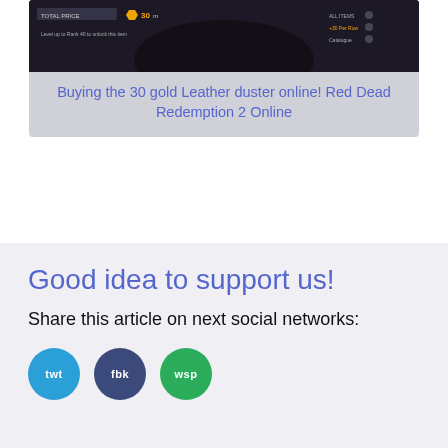[Figure (screenshot): Video thumbnail showing a dark game screenshot from Red Dead Redemption 2 Online with HUD elements visible]
Buying the 30 gold Leather duster online! Red Dead Redemption 2 Online
Good idea to support us!
Share this article on next social networks:
[Figure (illustration): Three social media circular icon buttons: twt (Twitter, blue), fbk (Facebook, dark blue), wsp (WhatsApp, green)]